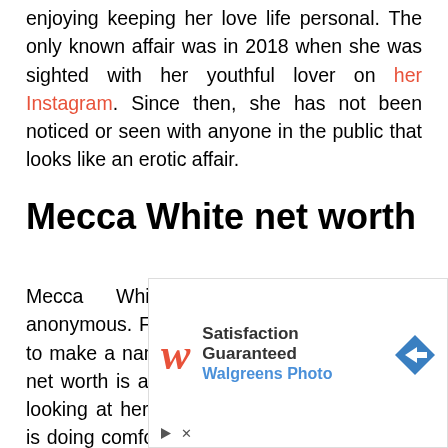enjoying keeping her love life personal. The only known affair was in 2018 when she was sighted with her youthful lover on her Instagram. Since then, she has not been noticed or seen with anyone in the public that looks like an erotic affair.
Mecca White net worth
Mecca White’s net worth is anonymous. For someone who is just started to make a name in Hollywood, White’s net worth is a hard subject to delve into. Yet looking at her Instagram, one could say she is doing comfortably well in terms of living on her own. But however, it has been estimated to range between thousands of dollars, which places
[Figure (other): Walgreens Photo advertisement banner with logo, 'Satisfaction Guaranteed' text, 'Walgreens Photo' subtitle in blue, and a blue diamond arrow icon]